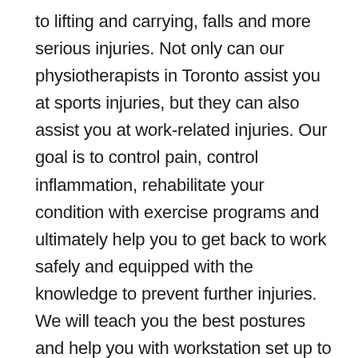to lifting and carrying, falls and more serious injuries. Not only can our physiotherapists in Toronto assist you at sports injuries, but they can also assist you at work-related injuries. Our goal is to control pain, control inflammation, rehabilitate your condition with exercise programs and ultimately help you to get back to work safely and equipped with the knowledge to prevent further injuries. We will teach you the best postures and help you with workstation set up to minimize the effects of static postures or repetitive movements on your body. Whether it be lifting technique improvement, education programs or workstation setups, your skilled physiotherapist is able to offer